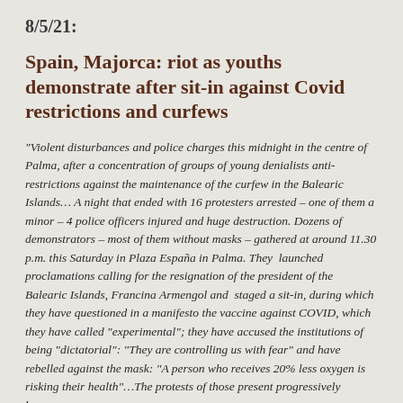8/5/21:
Spain, Majorca: riot as youths demonstrate after sit-in against Covid restrictions and curfews
“Violent disturbances and police charges this midnight in the centre of Palma, after a concentration of groups of young denialists anti-restrictions against the maintenance of the curfew in the Balearic Islands… A night that ended with 16 protesters arrested – one of them a minor – 4 police officers injured and huge destruction. Dozens of demonstrators – most of them without masks – gathered at around 11.30 p.m. this Saturday in Plaza España in Palma. They  launched proclamations calling for the resignation of the president of the Balearic Islands, Francina Armengol and  staged a sit-in, during which they have questioned in a manifesto the vaccine against COVID, which they have called “experimental”; they have accused the institutions of being “dictatorial”: “They are controlling us with fear” and have rebelled against the mask: “A person who receives 20% less oxygen is risking their health”…The protests of those present progressively became